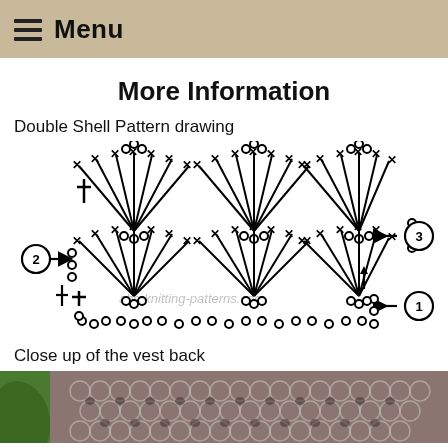Menu
More Information
Double Shell Pattern drawing
[Figure (illustration): Crochet diagram showing Double Shell Pattern with numbered rows (1, 2, 3), chain stitch symbols, double crochet symbols arranged in shell/fan shapes, with watermark 'abc-knitting-patterns.com']
Close up of the vest back
[Figure (photo): Close-up photograph of a crocheted vest back showing double shell stitch pattern in grey/taupe yarn, with green leaf visible at left edge]